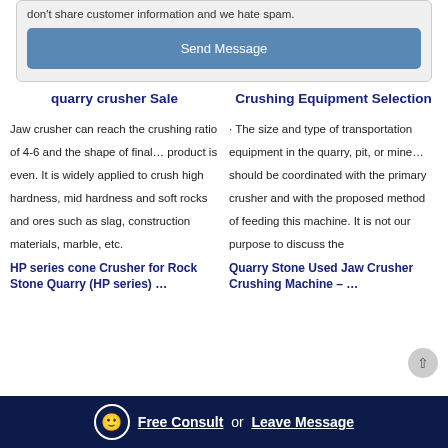don't share customer information and we hate spam.
Send Message
quarry crusher Sale
Crushing Equipment Selection
Jaw crusher can reach the crushing ratio of 4-6 and the shape of final… product is even. It is widely applied to crush high hardness, mid hardness and soft rocks and ores such as slag, construction materials, marble, etc.
· The size and type of transportation equipment in the quarry, pit, or mine… should be coordinated with the primary crusher and with the proposed method of feeding this machine. It is not our purpose to discuss the
HP series cone Crusher for Rock Stone Quarry (HP series) …
Quarry Stone Used Jaw Crusher Crushing Machine – …
Free Consult or Leave Message